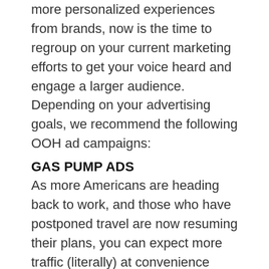more personalized experiences from brands, now is the time to regroup on your current marketing efforts to get your voice heard and engage a larger audience. Depending on your advertising goals, we recommend the following OOH ad campaigns:
GAS PUMP ADS
As more Americans are heading back to work, and those who have postponed travel are now resuming their plans, you can expect more traffic (literally) at convenience stores in 2021. To learn more about the benefits of gas pumps ads, and the options available to you (i.e., gas nozzle, gas toppers, ice boxes, etc.), read our article.
TRUCKSIDE ADVERTISING
We've always believed in the power of